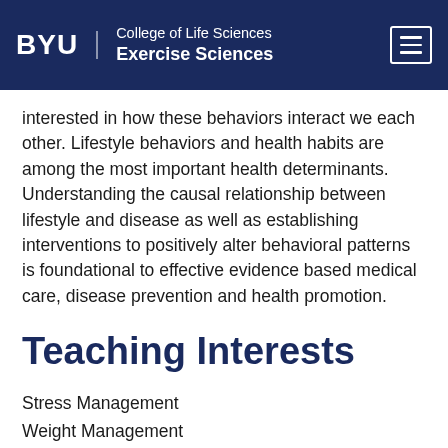BYU | College of Life Sciences | Exercise Sciences
interested in how these behaviors interact we each other. Lifestyle behaviors and health habits are among the most important health determinants. Understanding the causal relationship between lifestyle and disease as well as establishing interventions to positively alter behavioral patterns is foundational to effective evidence based medical care, disease prevention and health promotion.
Teaching Interests
Stress Management
Weight Management
Personal Fitness